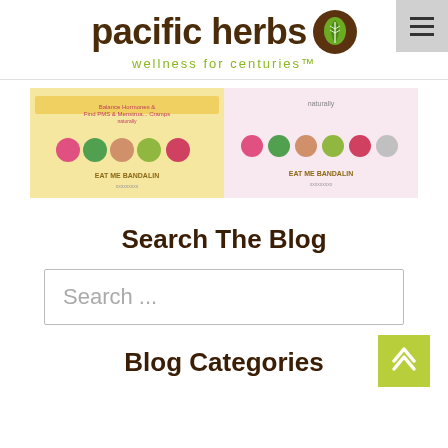[Figure (logo): Pacific Herbs logo with brown circular leaf icon and tagline 'wellness for centuries']
[Figure (screenshot): Two small thumbnail infographic images side by side showing herbal product information]
Search The Blog
Search ...
Blog Categories